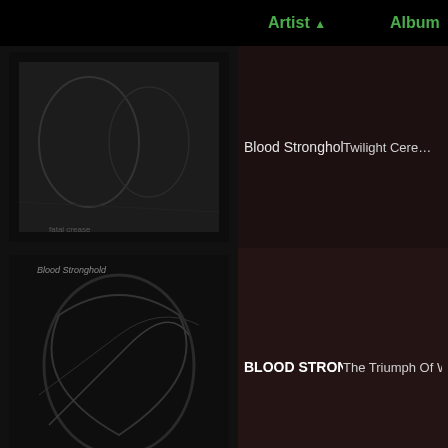Artist ▲  Album
Blood Stronghold | Twilight Cere...
BLOOD STRONGHOLD | The Triumph Of Wo...
Blood Stronghold | Blood Spilt in the Ea... (Red)
Blood Stronghold | The Immorta...